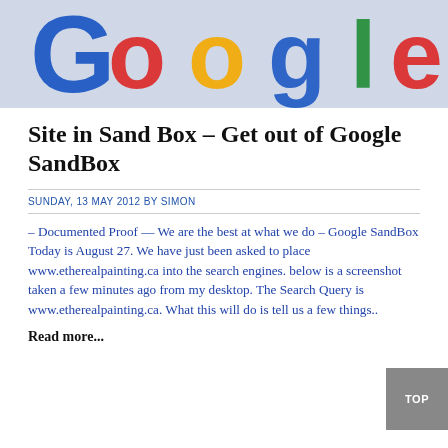[Figure (photo): Close-up photo of a Google logo with colorful 3D letters against a light background]
Site in Sand Box – Get out of Google SandBox
SUNDAY, 13 MAY 2012 BY SIMON
– Documented Proof  — We are the best at what we do – Google SandBox Today is August 27. We have just been asked to place www.etherealpainting.ca into the search engines. below is a screenshot taken a few minutes ago from my desktop. The Search Query is www.etherealpainting.ca. What this will do is tell us a few things..
Read more...